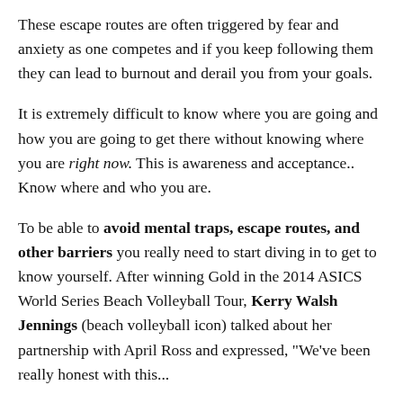These escape routes are often triggered by fear and anxiety as one competes and if you keep following them they can lead to burnout and derail you from your goals.
It is extremely difficult to know where you are going and how you are going to get there without knowing where you are right now. This is awareness and acceptance.. Know where and who you are.
To be able to avoid mental traps, escape routes, and other barriers you really need to start diving in to get to know yourself. After winning Gold in the 2014 ASICS World Series Beach Volleyball Tour, Kerry Walsh Jennings (beach volleyball icon) talked about her partnership with April Ross and expressed, "We've been really honest with this...